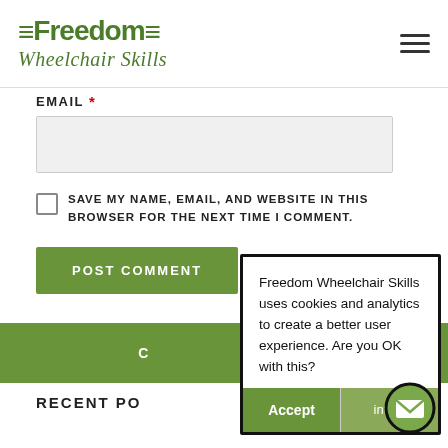[Figure (logo): Freedom Wheelchair Skills logo — green text with equals-sign decorations and italic subtitle]
EMAIL *
[Figure (screenshot): Email text input field (empty, light gray background)]
SAVE MY NAME, EMAIL, AND WEBSITE IN THIS BROWSER FOR THE NEXT TIME I COMMENT.
POST COMMENT
Freedom Wheelchair Skills uses cookies and analytics to create a better user experience. Are you OK with this?
Accept
info...
RECENT PO